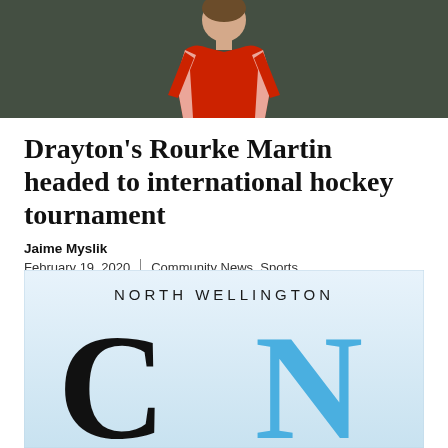[Figure (photo): Photo of a person wearing a red jersey/shirt against a dark background, cropped to show upper body]
Drayton's Rourke Martin headed to international hockey tournament
Jaime Myslik
February 19, 2020 | Community News, Sports
DRAYTON – A local hockey player is going to make his international debut in Las Vegas this spring.
[Figure (logo): North Wellington Community News logo — 'NORTH WELLINGTON' text above large 'CN' letters where C is black and N is blue, on a light blue gradient background]